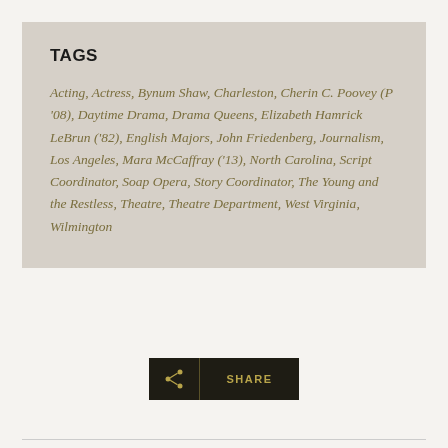TAGS
Acting, Actress, Bynum Shaw, Charleston, Cherin C. Poovey (P '08), Daytime Drama, Drama Queens, Elizabeth Hamrick LeBrun ('82), English Majors, John Friedenberg, Journalism, Los Angeles, Mara McCaffray ('13), North Carolina, Script Coordinator, Soap Opera, Story Coordinator, The Young and the Restless, Theatre, Theatre Department, West Virginia, Wilmington
[Figure (other): Share button with share icon and text SHARE]